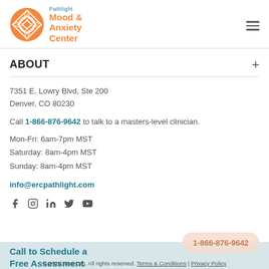[Figure (logo): Pathlight Mood & Anxiety Center logo with orange circular emblem and teal/orange text]
ABOUT
7351 E. Lowry Blvd, Ste 200
Denver, CO 80230
Call 1-866-876-9642 to talk to a masters-level clinician.
Mon-Fri: 6am-7pm MST
Saturday: 8am-4pm MST
Sunday: 8am-4pm MST
info@ercpathlight.com
[Figure (other): Social media icons: Facebook, Instagram, LinkedIn, Twitter, YouTube]
Call to Schedule a Free Assessment
1-866-876-9642
© 2020 New Org. All rights reserved. Terms & Conditions | Privacy Policy